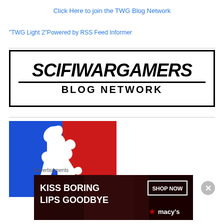Click Here to join the TWG Blog Network
"TWG Light 2"Powered by RSS Feed Informer
[Figure (logo): SciFi Wargamers Blog Network logo — black bold italic text 'SCIFIWARGAMERS' with a horizontal rule beneath and 'BLOG NETWORK' in spaced caps, all inside a black rectangular border.]
[Figure (logo): Logo with blue and red background halves and a white silhouette of a zombie figure reaching forward.]
Advertisements
[Figure (other): Macy's advertisement banner: 'KISS BORING LIPS GOODBYE' with a woman's face, 'SHOP NOW' button and Macy's star logo on dark red background.]